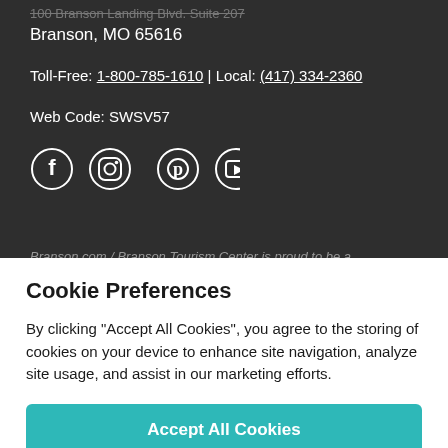100 Branson Landing Blvd. Suite 207
Branson, MO 65616
Toll-Free: 1-800-785-1610 | Local: (417) 334-2360
Web Code: SWSV57
[Figure (illustration): Social media icons: Facebook, Instagram, Pinterest, YouTube]
Branson.com / Branson Tourism Center is proud to be a
Cookie Preferences
By clicking “Accept All Cookies”, you agree to the storing of cookies on your device to enhance site navigation, analyze site usage, and assist in our marketing efforts.
Accept All Cookies
Cookies Settings